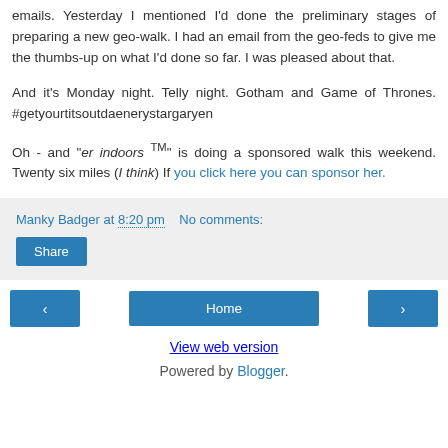emails. Yesterday I mentioned I'd done the preliminary stages of preparing a new geo-walk. I had an email from the geo-feds to give me the thumbs-up on what I'd done so far. I was pleased about that.
And it's Monday night. Telly night. Gotham and Game of Thrones. #getyourtitsoutdaenerystargaryen
Oh - and "er indoors TM" is doing a sponsored walk this weekend. Twenty six miles (I think) If you click here you can sponsor her.
Manky Badger at 8:20 pm   No comments:
Share
Home
View web version
Powered by Blogger.